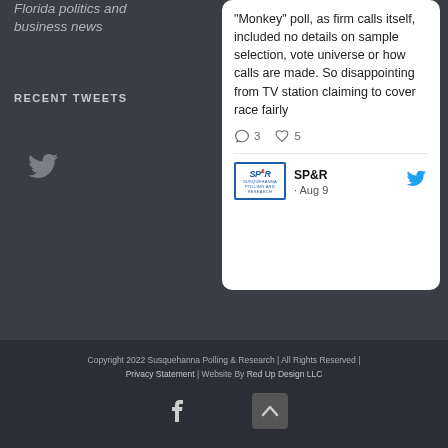Florida politics and business news
RECENT TWEETS
[Figure (illustration): Twitter bird logo icon in gray]
Monkey poll, as firm calls itself, included no details on sample selection, vote universe or how calls are made. So disappointing from TV station claiming to cover race fairly
3 comments, 5 likes
SP&R · Aug 9
Copyright 2022 Susquehanna Polling & Research | All Rights Reserved | Privacy Statement | Website By Red Up Design LLC